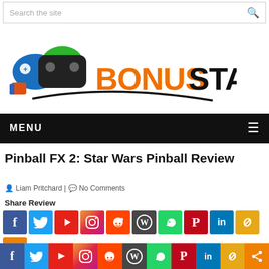Search the site
[Figure (logo): Bonus Stage logo with colorful game controller icons and orange/black text reading BONUS STAGE]
MENU
Pinball FX 2: Star Wars Pinball Review
Liam Pritchard | No Comments
Share Review
[Figure (infographic): Row of social media share icons: Facebook, Twitter, YouTube, Instagram, Reddit, WordPress, WhatsApp, Pinterest, LinkedIn, Copy Link, and one more orange icon]
[Figure (infographic): Sticky bottom bar of social media icons: Facebook, Twitter, YouTube, Instagram, Reddit, WordPress, WhatsApp, Pinterest, LinkedIn, Copy Link, Share]